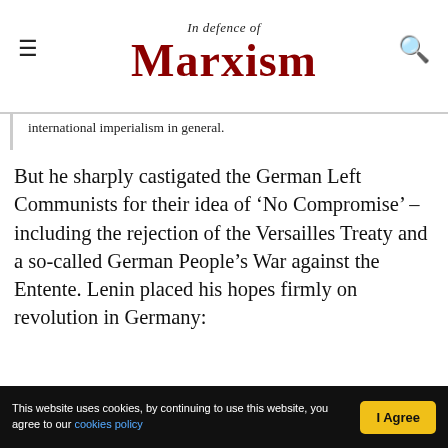In Defence of Marxism
international imperialism in general.
But he sharply castigated the German Left Communists for their idea of ‘No Compromise’ – including the rejection of the Versailles Treaty and a so-called German People’s War against the Entente. Lenin placed his hopes firmly on revolution in Germany:
To give absolute, categorical and immediate precedence to liberation from the Treaty of Versailles and to give it precedence over the question of liberating other countries oppressed by imperialism, from the yoke of imperialism, is
This website uses cookies, by continuing to use this website, you agree to our cookies policy | I Agree